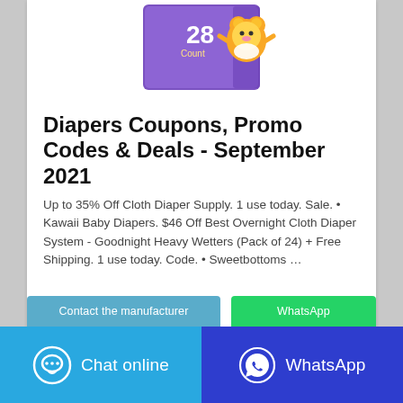[Figure (photo): Diaper box product image - purple box with cartoon bear character and '28' count label]
Diapers Coupons, Promo Codes & Deals - September 2021
Up to 35% Off Cloth Diaper Supply. 1 use today. Sale. • Kawaii Baby Diapers. $46 Off Best Overnight Cloth Diaper System - Goodnight Heavy Wetters (Pack of 24) + Free Shipping. 1 use today. Code. • Sweetbottoms …